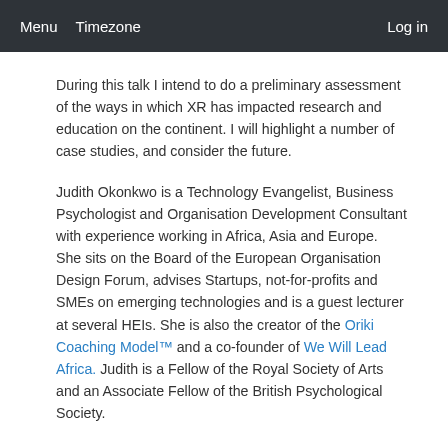Menu   Timezone   Log in
During this talk I intend to do a preliminary assessment of the ways in which XR has impacted research and education on the continent. I will highlight a number of case studies, and consider the future.
Judith Okonkwo is a Technology Evangelist, Business Psychologist and Organisation Development Consultant with experience working in Africa, Asia and Europe.  She sits on the Board of the European Organisation Design Forum, advises Startups, not-for-profits and SMEs on emerging technologies and is a guest lecturer at several HEIs. She is also the creator of the Oriki Coaching Model™ and a co-founder of We Will Lead Africa. Judith is a Fellow of the Royal Society of Arts and an Associate Fellow of the British Psychological Society.